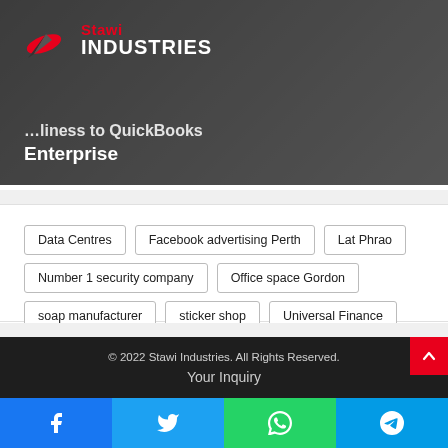[Figure (logo): Stawi Industries logo with red swoosh icon and company name]
Migrating your business to QuickBooks Enterprise
Data Centres
Facebook advertising Perth
Lat Phrao
Number 1 security company
Office space Gordon
soap manufacturer
sticker shop
Universal Finance
© 2022 Stawi Industries. All Rights Reserved.
Your Inquiry